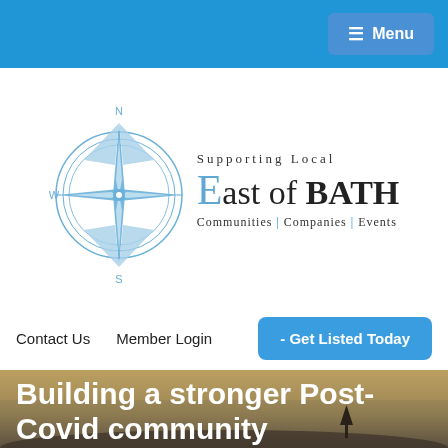Menu
[Figure (logo): East of Bath compass rose logo with text: Supporting Local, East of BATH, Communities | Companies | Events]
Contact Us   Member Login   - Get Listed Today
Building a stronger Post-Covid community